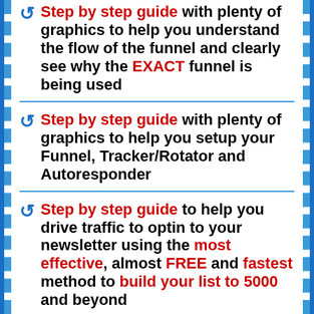Step by step guide with plenty of graphics to help you understand the flow of the funnel and clearly see why the EXACT funnel is being used
Step by step guide with plenty of graphics to help you setup your Funnel, Tracker/Rotator and Autoresponder
Step by step guide to help you drive traffic to optin to your newsletter using the most effective, almost FREE and fastest method to build your list to 5000 and beyond
Done for you CUSTOM BUILD List Building On Fire's Secret Funnel